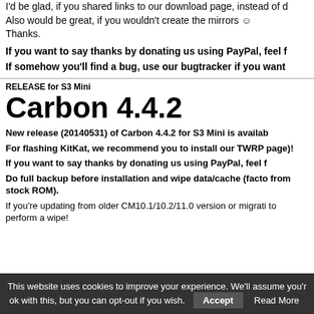I'd be glad, if you shared links to our download page, instead of d
Also would be great, if you wouldn't create the mirrors ☺
Thanks.
If you want to say thanks by donating us using PayPal, feel f
If somehow you'll find a bug, use our bugtracker if you want
RELEASE for S3 Mini
Carbon 4.4.2
New release (20140531) of Carbon 4.4.2 for S3 Mini is availab
For flashing KitKat, we recommend you to install our TWRP page)!
If you want to say thanks by donating us using PayPal, feel f
Do full backup before installation and wipe data/cache (facto from stock ROM).
If you're updating from older CM10.1/10.2/11.0 version or migrati to perform a wipe!
This website uses cookies to improve your experience. We'll assume you'r ok with this, but you can opt-out if you wish. Accept Read More